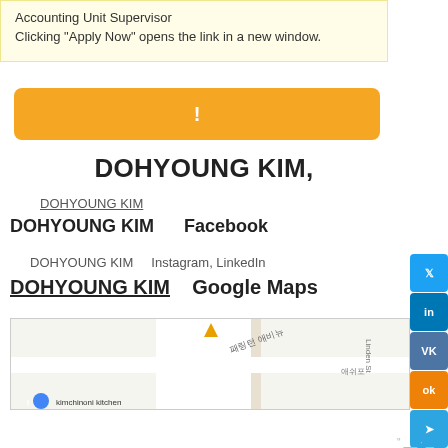Accounting Unit Supervisor
Clicking "Apply Now" opens the link in a new window.
[Figure (other): Orange 'Apply Now' button with exclamation mark]
DOHYOUNG KIM,
DOHYOUNG KIM (underlined link)
DOHYOUNG KIM    Facebook
DOHYOUNG KIM    Instagram, LinkedIn
DOHYOUNG KIM    Google Maps
[Figure (map): Google Maps snippet showing Korean street labels including 패링턴 애비뉴, Linden St, 애쉬포, and kimchinoni kitchen marker]